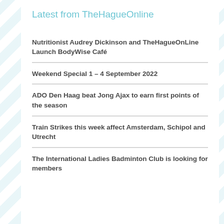Latest from TheHagueOnline
Nutritionist Audrey Dickinson and TheHagueOnLine Launch BodyWise Café
Weekend Special 1 – 4 September 2022
ADO Den Haag beat Jong Ajax to earn first points of the season
Train Strikes this week affect Amsterdam, Schipol and Utrecht
The International Ladies Badminton Club is looking for members